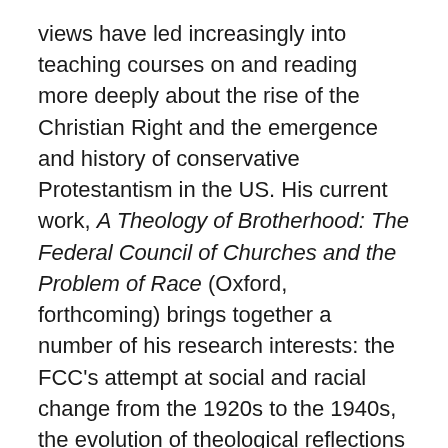views have led increasingly into teaching courses on and reading more deeply about the rise of the Christian Right and the emergence and history of conservative Protestantism in the US. His current work, A Theology of Brotherhood: The Federal Council of Churches and the Problem of Race (Oxford, forthcoming) brings together a number of his research interests: the FCC's attempt at social and racial change from the 1920s to the 1940s, the evolution of theological reflections on race, and the concrete and particular circumstances that shape historical actors as they wrestle with the constraints of their social worlds. This narrative is a critical historical evaluation of the FCC's interracial work as a predominantly white Protestant and ecumenical organization, but also a reflection on the factors that illuminate the prominence of a certain strand of Protestantism in American public life in the